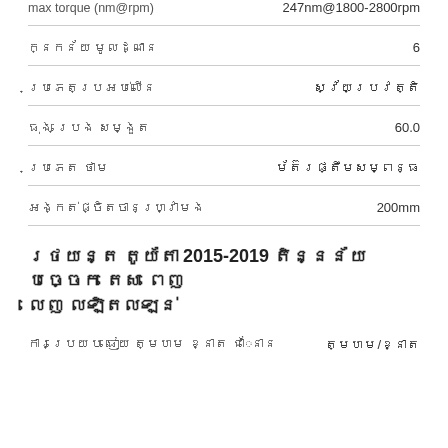max torque (nm@rpm)	247nm@1800-2800rpm
ចំនួន មូលដ្ឋាន	6
ប្រភេទប្រអប់លឿន	ស្វ័យប្រវត្តិ
ធុង ប្រេង សម្ងួត	60.0
ប្រភេទ ថាម	ម៉ូទ័រផ្ទឹមសម្ព័ន្ធ
អង្កត់ផ្ចិតចានហ្វ្រាំង	200mm
រថយន្ត តូយ៉ូតា 2015-2019 ទិន្នន័យ បច្ចេក ទេស ពេញ លេញ ល្អិតល្អន់
ការប្រៀប ធៀប ទំហំ ខ្នាត ជំនាន់	ទំហំ/ខ្នាត